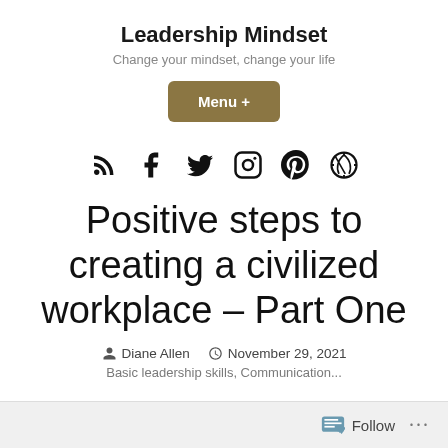Leadership Mindset
Change your mindset, change your life
[Figure (other): Menu + button (gold/brown rounded rectangle)]
[Figure (other): Social media icons: RSS, Facebook, Twitter, Instagram, Pinterest, WordPress]
Positive steps to creating a civilized workplace – Part One
Diane Allen  November 29, 2021
Basic leadership skills, Communication...